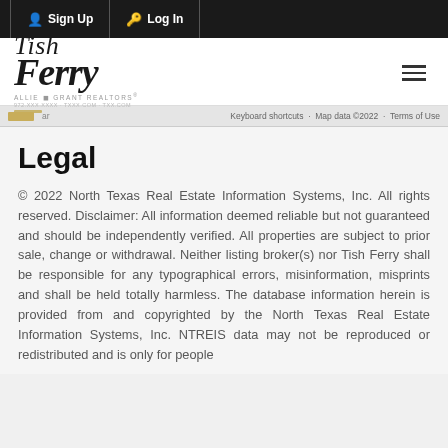Sign Up  Log In
[Figure (logo): Tish Ferry real estate logo with stylized italic text and Allie Beth Allman & Associates branding below]
Keyboard shortcuts  Map data ©2022  Terms of Use
Legal
© 2022 North Texas Real Estate Information Systems, Inc. All rights reserved. Disclaimer: All information deemed reliable but not guaranteed and should be independently verified. All properties are subject to prior sale, change or withdrawal. Neither listing broker(s) nor Tish Ferry shall be responsible for any typographical errors, misinformation, misprints and shall be held totally harmless. The database information herein is provided from and copyrighted by the North Texas Real Estate Information Systems, Inc. NTREIS data may not be reproduced or redistributed and is only for people